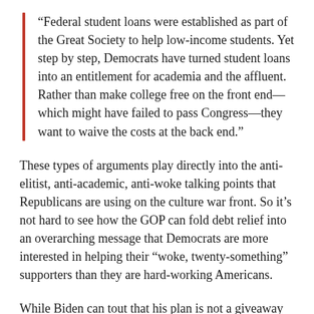“Federal student loans were established as part of the Great Society to help low-income students. Yet step by step, Democrats have turned student loans into an entitlement for academia and the affluent. Rather than make college free on the front end—which might have failed to pass Congress—they want to waive the costs at the back end.”
These types of arguments play directly into the anti-elitist, anti-academic, anti-woke talking points that Republicans are using on the culture war front. So it’s not hard to see how the GOP can fold debt relief into an overarching message that Democrats are more interested in helping their “woke, twenty-something” supporters than they are hard-working Americans.
While Biden can tout that his plan is not a giveaway to